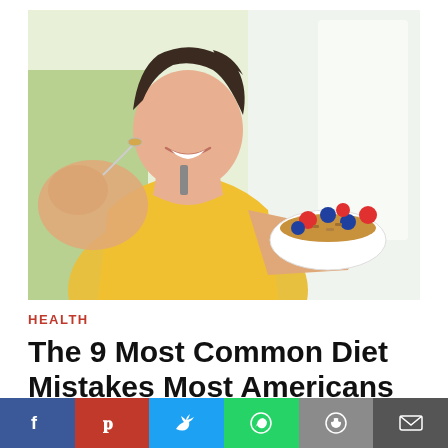[Figure (photo): Woman in yellow tank top smiling, holding a white bowl of granola with berries (raspberries, blueberries), extending a spoonful toward the camera. Bright, airy background.]
HEALTH
The 9 Most Common Diet Mistakes Most Americans Make
[Figure (infographic): Social media sharing bar with buttons: Facebook (blue), Pinterest (red), Twitter (light blue), WhatsApp (green), Reddit (gray), Email (dark gray)]